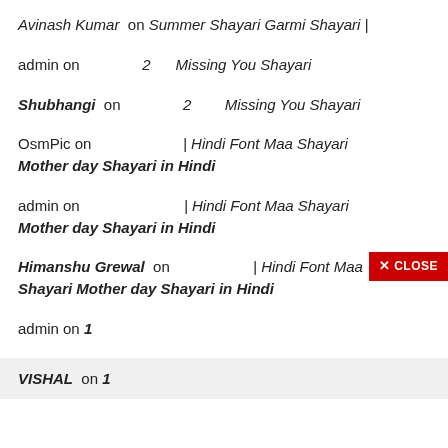Avinash Kumar on Summer Shayari Garmi Shayari |
admin on 2 Missing You Shayari
Shubhangi on 2 Missing You Shayari
OsmPic on | Hindi Font Maa Shayari Mother day Shayari in Hindi
admin on | Hindi Font Maa Shayari Mother day Shayari in Hindi
Himanshu Grewal on | Hindi Font Maa Shayari Mother day Shayari in Hindi
admin on 1
VISHAL on 1